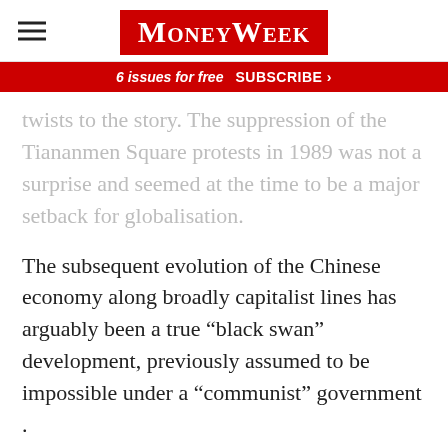MoneyWeek
6 issues for free  SUBSCRIBE >
twists to the story. The suppression of the Tiananmen Square protests in 1989 was not a surprise and seemed at the time to be a major setback for globalisation.
The subsequent evolution of the Chinese economy along broadly capitalist lines has arguably been a true “black swan” development, previously assumed to be impossible under a “communist” government .
Other examples of supposed “black swans”